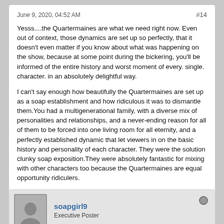June 9, 2020, 04:52 AM  #14
Yesss....the Quartermaines are what we need right now. Even out of context, those dynamics are set up so perfectly, that it doesn't even matter if you know about what was happening on the show, because at some point during the bickering, you'll be informed of the entire history and worst moment of every. single. character. in an absolutely delightful way.
I can't say enough how beautifully the Quartermaines are set up as a soap establishment and how ridiculous it was to dismantle them.You had a multigenerational family, with a diverse mix of personalities and relationships, and a never-ending reason for all of them to be forced into one living room for all eternity, and a perfectly established dynamic that let viewers in on the basic history and personality of each character. They were the solution clunky soap exposition.They were absolutely fantastic for mixing with other characters too because the Quartermaines are equal opportunity ridiculers.
Anyway, yes to Quartermaine scenes. Doesn't even have to be thanksgiving. They are a gift.
soapgirl9
Executive Poster